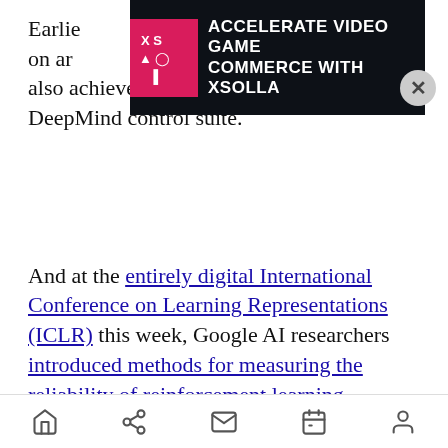Earlier work on artificial… say also achieves state-of-the-art results on the DeepMind control suite.
[Figure (infographic): Advertisement overlay: ACCELERATE VIDEO GAME COMMERCE WITH XSOLLA with pink/red logo and dark background]
And at the entirely digital International Conference on Learning Representations (ICLR) this week, Google AI researchers introduced methods for measuring the reliability of reinforcement learning algorithms, and Huawei AI researchers introduced Adversarial AutoAugment for improving data augmentation policy.
Abbeel also coauthored a number of reinforcement algorithm papers at ICLR, including HiPPO for training several levels of reinforcement learning
Home Share Mail Calendar Profile